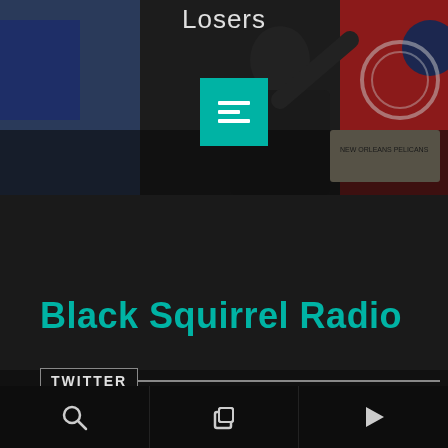[Figure (screenshot): Top portion of a dark web/app page showing a person in a dark suit holding an 'Orleans Pelicans' sign, with a teal/green menu icon overlay and 'Losers' text at top]
Black Squirrel Radio
TWITTER
[Figure (screenshot): Twitter embed/input area with a small broken image placeholder on dark background]
[Figure (screenshot): Bottom navigation bar with search, layers/copy, and play button icons]